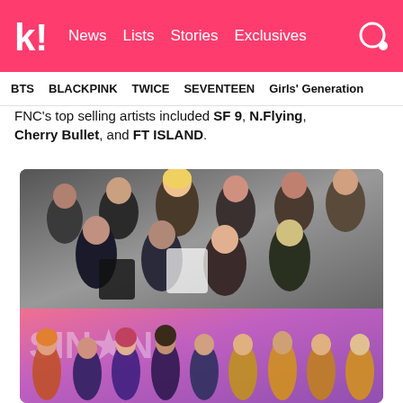k! News Lists Stories Exclusives
BTS   BLACKPINK   TWICE   SEVENTEEN   Girls' Generation
FNC's top selling artists included SF 9, N.Flying, Cherry Bullet, and FT ISLAND.
[Figure (photo): Group photo of SF9 male K-pop group members posing together against a grey background]
[Figure (photo): Group photo of Cherry Bullet female K-pop group members in colorful outfits on a pink/purple stage background]